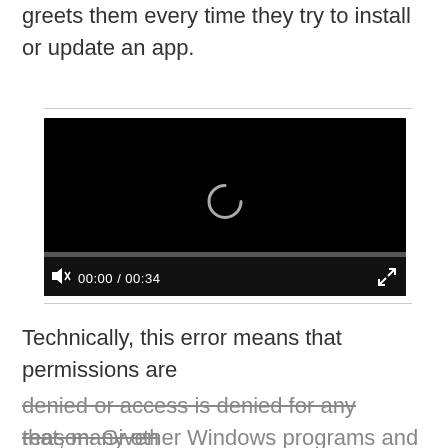greets them every time they try to install or update an app.
[Figure (screenshot): Video player with black background showing a loading spinner, progress bar, muted speaker icon, time display '00:00 / 00:34', and fullscreen button.]
Technically, this error means that permissions are denied or access is denied for any reason. Given that, many other Windows programs and services